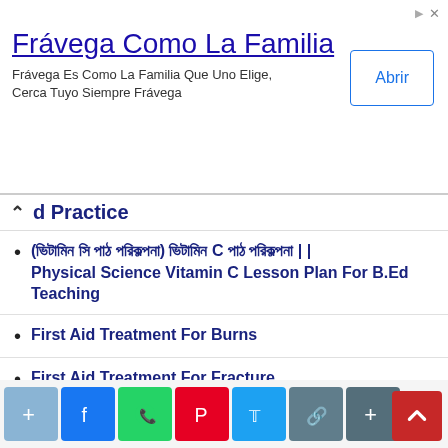[Figure (screenshot): Advertisement banner for Frávega Como La Familia with title text, subtitle, and Abrir button]
d Practice
(ভিটামিন সি পাঠ পরিকল্পনা) ভিটামিন C পাঠ পরিকল্পনা | | Physical Science Vitamin C Lesson Plan For B.Ed Teaching
First Aid Treatment For Burns
First Aid Treatment For Fracture
How Many Types Of Tournaments Are There?
Extramural Competition
Intramural Competition
Physical Education Lesson Plan
Methods Of Teaching Physical Education